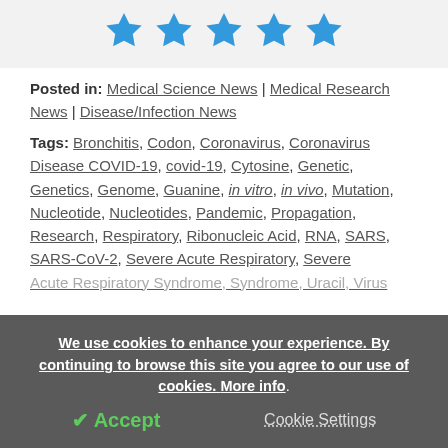[Figure (other): Five blue star rating icons in a row]
Posted in: Medical Science News | Medical Research News | Disease/Infection News
Tags: Bronchitis, Codon, Coronavirus, Coronavirus Disease COVID-19, covid-19, Cytosine, Genetic, Genetics, Genome, Guanine, in vitro, in vivo, Mutation, Nucleotide, Nucleotides, Pandemic, Propagation, Research, Respiratory, Ribonucleic Acid, RNA, SARS, SARS-CoV-2, Severe Acute Respiratory, Severe Acute Respiratory Syndrome, Syndrome, Uracil, Virus
We use cookies to enhance your experience. By continuing to browse this site you agree to our use of cookies. More info.
✔ Accept
Cookie Settings